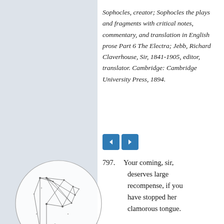Sophocles, creator; Sophocles the plays and fragments with critical notes, commentary, and translation in English prose Part 6 The Electra; Jebb, Richard Claverhouse, Sir, 1841-1905, editor, translator. Cambridge: Cambridge University Press, 1894.
[Figure (illustration): Two navigation buttons (left and right chevrons) in blue, followed by verse text. Left panel has a circular logo with a stylized letter P made of geometric wireframe lines.]
797. Your coming, sir, deserves large recompense, if you have stopped her clamorous tongue.
Paedagogus
799. Then I would take my leave, if all is well.